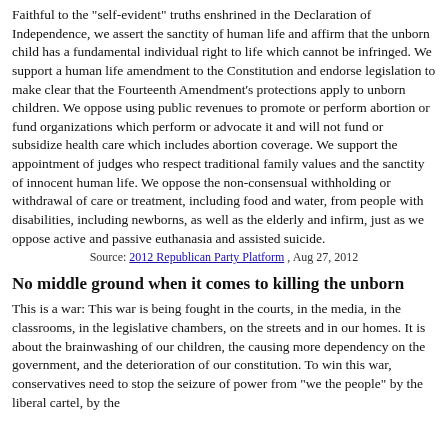Faithful to the "self-evident" truths enshrined in the Declaration of Independence, we assert the sanctity of human life and affirm that the unborn child has a fundamental individual right to life which cannot be infringed. We support a human life amendment to the Constitution and endorse legislation to make clear that the Fourteenth Amendment's protections apply to unborn children. We oppose using public revenues to promote or perform abortion or fund organizations which perform or advocate it and will not fund or subsidize health care which includes abortion coverage. We support the appointment of judges who respect traditional family values and the sanctity of innocent human life. We oppose the non-consensual withholding or withdrawal of care or treatment, including food and water, from people with disabilities, including newborns, as well as the elderly and infirm, just as we oppose active and passive euthanasia and assisted suicide.
Source: 2012 Republican Party Platform , Aug 27, 2012
No middle ground when it comes to killing the unborn
This is a war: This war is being fought in the courts, in the media, in the classrooms, in the legislative chambers, on the streets and in our homes. It is about the brainwashing of our children, the causing more dependency on the government, and the deterioration of our constitution. To win this war, conservatives need to stop the seizure of power from "we the people" by the liberal cartel, by the